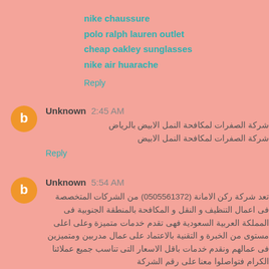nike chaussure
polo ralph lauren outlet
cheap oakley sunglasses
nike air huarache
Reply
Unknown 2:45 AM
شركة الصفرات لمكافحة النمل الابيض بالرياض
شركة الصفرات لمكافحة النمل الابيض
Reply
Unknown 5:54 AM
تعد شركة ركن الامانة (0505561372) من الشركات المتخصصة فى اعمال التنظيف و النقل و المكافحة بالمنطقة الجنوبية فى المملكة العربية السعودية فهى تقدم خدمات متميزة وعلى اعلى مستوى من الخبرة و التقنية بالاعتماد على عمال مدربين ومتميزين فى عمالهم ونقدم خدمات باقل الاسعار التى تناسب جميع عملائنا الكرام فتواصلوا معنا على رقم الشركة شركة ركن الامانة